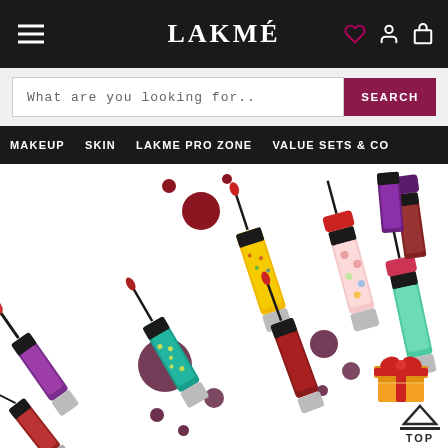LAKMÉ
What are you looking for..
SEARCH
MAKEUP  SKIN  LAKME PRO ZONE  VALUE SETS & CO
[Figure (photo): Array of colorful Lakme lip gloss/liquid lipstick products with purple, teal, yellow, red, and mint packaging scattered diagonally on a white background with decorative paint drops in red, burgundy/maroon, and purple colors.]
[Figure (illustration): Gift box icon (orange box with gold bow) positioned in lower right area of hero image.]
TOP